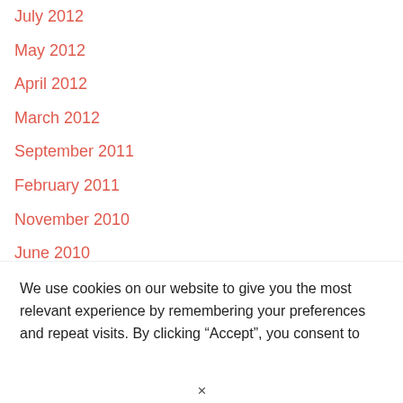July 2012
May 2012
April 2012
March 2012
September 2011
February 2011
November 2010
June 2010
May 2010
March 2010
We use cookies on our website to give you the most relevant experience by remembering your preferences and repeat visits. By clicking “Accept”, you consent to